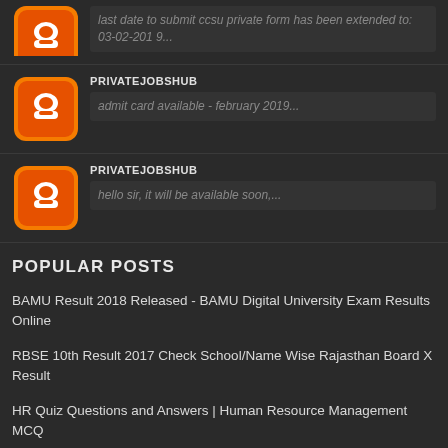last date to submit ccsu private form has been extended to: 03-02-2019...
PRIVATEJOBSHUB
admit card available - february 2019...
PRIVATEJOBSHUB
hello sir, it will be available soon,...
POPULAR POSTS
BAMU Result 2018 Released - BAMU Digital University Exam Results Online
RBSE 10th Result 2017 Check School/Name Wise Rajasthan Board X Result
HR Quiz Questions and Answers | Human Resource Management MCQ